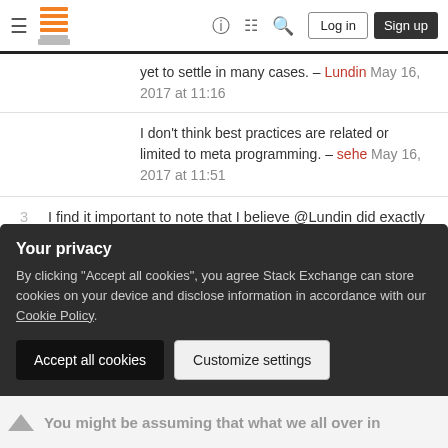Stack Exchange navigation bar with hamburger, logo, help, chat, search, Log in, Sign up
yet to settle in many cases. – Lundin May 16, 2017 at 11:16
I don't think best practices are related or limited to meta programming. – sehe May 16, 2017 at 11:51
3  I find it important to note that I believe @Lundin did exactly right by posting here first. You do need consensus before taking deliberate action to abuse the system (which a tag like this is, technically). Otherwise the one-person initiative will easily be undone by the initiative of another person who finds these actions conflicting with rules on SO. Not that hard to whip up a burnination request for a meta-tag like this, so the best
Your privacy
By clicking "Accept all cookies", you agree Stack Exchange can store cookies on your device and disclose information in accordance with our Cookie Policy.
Accept all cookies   Customize settings
You might be assuming that what we all over in